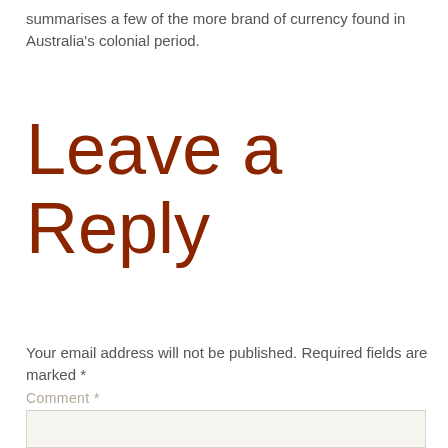summarises a few of the more brand of currency found in Australia's colonial period.
Leave a Reply
Your email address will not be published. Required fields are marked *
Comment *